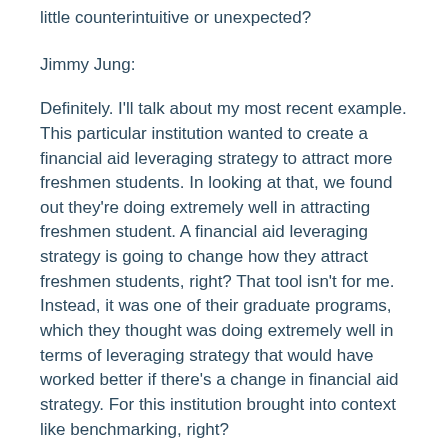little counterintuitive or unexpected?
Jimmy Jung:
Definitely. I'll talk about my most recent example. This particular institution wanted to create a financial aid leveraging strategy to attract more freshmen students. In looking at that, we found out they're doing extremely well in attracting freshmen student. A financial aid leveraging strategy is going to change how they attract freshmen students, right? That tool isn't for me. Instead, it was one of their graduate programs, which they thought was doing extremely well in terms of leveraging strategy that would have worked better if there's a change in financial aid strategy. For this institution brought into context like benchmarking, right?
They didn't think outside of the institution. What is the standard historical yield for a public institution for their freshman class? When they took a look at that, they were